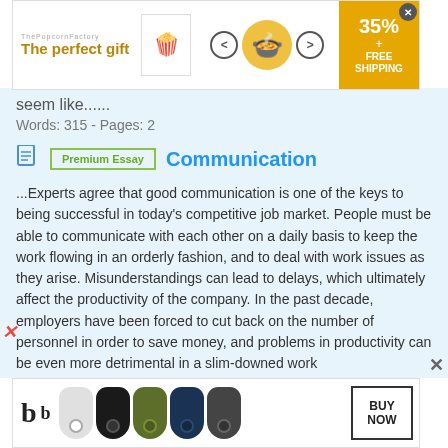[Figure (other): Top advertisement banner for The Popcorn Factory with '35% + FREE SHIPPING' offer]
seem like......
Words: 315 - Pages: 2
Communication
...Experts agree that good communication is one of the keys to being successful in today's competitive job market. People must be able to communicate with each other on a daily basis to keep the work flowing in an orderly fashion, and to deal with work issues as they arise. Misunderstandings can lead to delays, which ultimately affect the productivity of the company. In the past decade, employers have been forced to cut back on the number of personnel in order to save money, and problems in productivity can be even more detrimental in a slim-downed work
[Figure (other): Bottom advertisement banner for Beats headphones with 'BUY NOW' button]